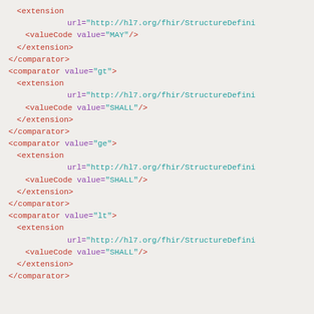XML/FHIR code snippet showing comparator elements with extensions for MAY and SHALL value codes